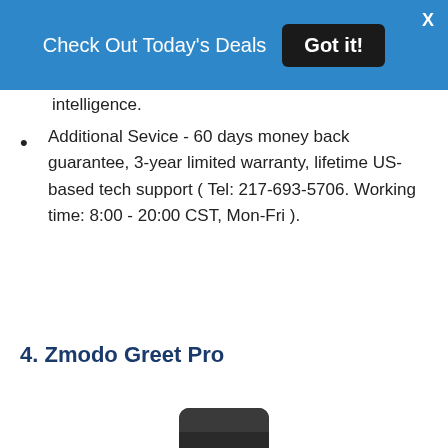Check Out Today's Deals  Got it!  X
intelligence.
Additional Sevice - 60 days money back guarantee, 3-year limited warranty, lifetime US-based tech support ( Tel: 217-693-5706. Working time: 8:00 - 20:00 CST, Mon-Fri ).
4. Zmodo Greet Pro
[Figure (photo): Black Zmodo Greet Pro smart doorbell camera, front view showing camera lens]